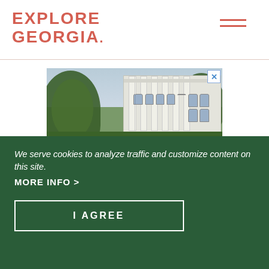EXPLORE GEORGIA.
[Figure (photo): Garden and white mansion with columns; text overlay reads '10 SURPRISING']
We serve cookies to analyze traffic and customize content on this site.
MORE INFO >
I AGREE